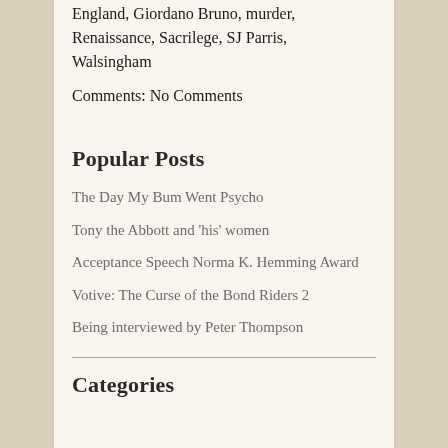England, Giordano Bruno, murder, Renaissance, Sacrilege, SJ Parris, Walsingham
Comments: No Comments
Popular Posts
The Day My Bum Went Psycho
Tony the Abbott and 'his' women
Acceptance Speech Norma K. Hemming Award
Votive: The Curse of the Bond Riders 2
Being interviewed by Peter Thompson
Categories